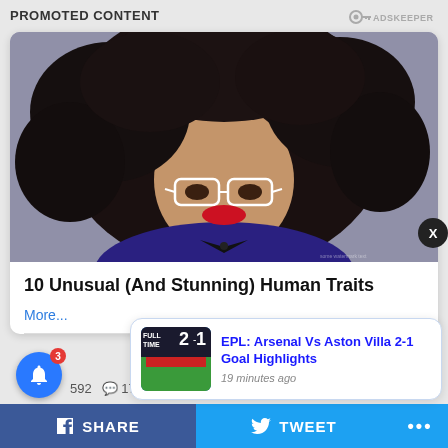PROMOTED CONTENT
[Figure (photo): Fashion photo of a woman with large curly hair, white glasses, and red lips wearing a blue outfit with a bow tie, against a gray background]
10 Unusual (And Stunning) Human Traits
More...
[Figure (screenshot): Popup notification card showing EPL: Arsenal Vs Aston Villa 2-1 Goal Highlights, 19 minutes ago, with a soccer match thumbnail]
EPL: Arsenal Vs Aston Villa 2-1 Goal Highlights
19 minutes ago
SHARE   TWEET   ...